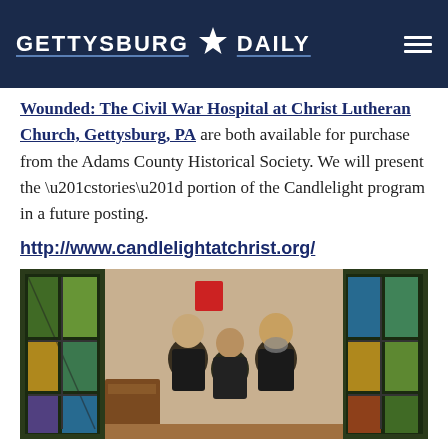GETTYSBURG ★ DAILY
Wounded: The Civil War Hospital at Christ Lutheran Church, Gettysburg, PA are both available for purchase from the Adams County Historical Society. We will present the “stories” portion of the Candlelight program in a future posting.
http://www.candlelightatchrist.org/
[Figure (photo): Three people standing together in a church interior with stained glass windows on either side. Two men and a woman, all dressed in dark clothing, posing for a photo.]